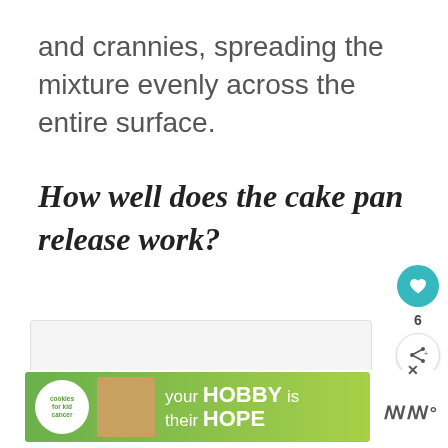and crannies, spreading the mixture evenly across the entire surface.
How well does the cake pan release work?
[Figure (photo): Gray image placeholder area below the section header]
[Figure (infographic): Advertisement banner: cookies for kid cancer - your HOBBY is their HOPE]